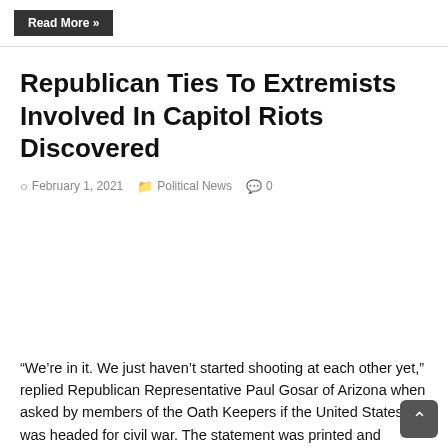Read More »
Republican Ties To Extremists Involved In Capitol Riots Discovered
February 1, 2021   Political News   0
“We’re in it. We just haven’t started shooting at each other yet,” replied Republican Representative Paul Gosar of Arizona when asked by members of the Oath Keepers if the United States was headed for civil war. The statement was printed and distributed by the